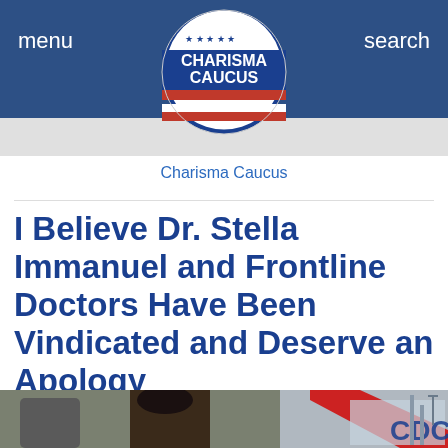menu    Charisma Caucus    search
Charisma Caucus
I Believe Dr. Stella Immanuel and Frontline Doctors Have Been Vindicated and Deserve an Apology
[Figure (photo): Photo of Dr. Stella Immanuel speaking at podium outdoors with other doctors, with a red diagonal graphic element and a CDC building sign visible in the background.]